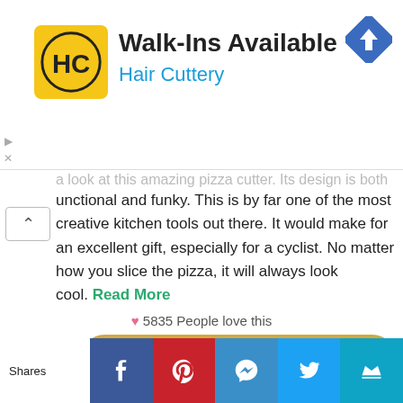[Figure (screenshot): Hair Cuttery ad banner with yellow HC logo, 'Walk-Ins Available' title, 'Hair Cuttery' subtitle in blue, and blue navigation diamond icon on the right]
...a look at this amazing pizza cutter. Its design is both functional and funky. This is by far one of the most creative kitchen tools out there. It would make for an excellent gift, especially for a cyclist. No matter how you slice the pizza, it will always look cool. Read More
♥ 5835 People love this
GET IT HERE
[Figure (screenshot): Social sharing bar with Shares label and icons for Facebook, Pinterest, Messenger, Twitter, and a crown/email icon]